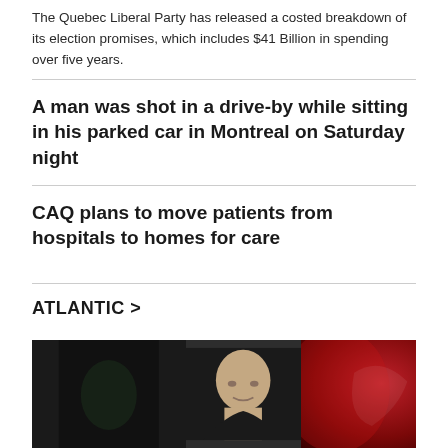The Quebec Liberal Party has released a costed breakdown of its election promises, which includes $41 Billion in spending over five years.
A man was shot in a drive-by while sitting in his parked car in Montreal on Saturday night
CAQ plans to move patients from hospitals to homes for care
ATLANTIC >
[Figure (photo): A dark photograph of a bald man with red lighting on the right side, dark background on the left.]